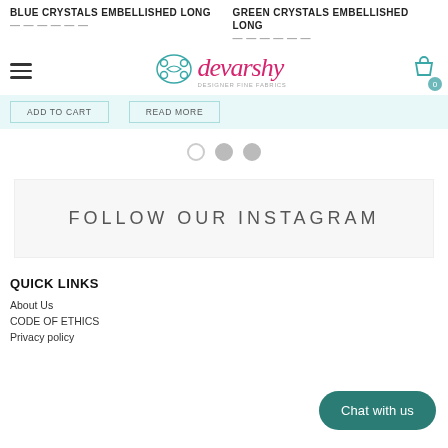BLUE CRYSTALS EMBELLISHED LONG
GREEN CRYSTALS EMBELLISHED LONG
[Figure (logo): Devarshy brand logo with decorative icon and pink stylized text]
ADD TO CART
READ MORE
[Figure (other): Carousel navigation dots, three circles, first outlined, second and third filled grey]
FOLLOW OUR INSTAGRAM
QUICK LINKS
About Us
CODE OF ETHICS
Privacy policy
Chat with us